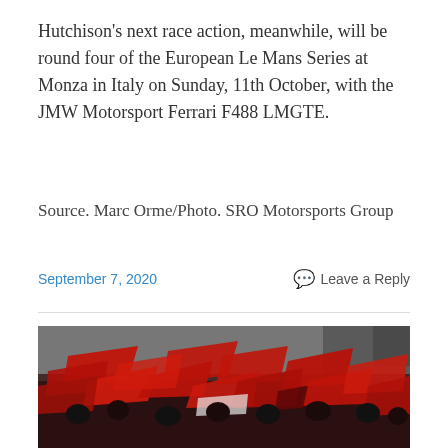Hutchison's next race action, meanwhile, will be round four of the European Le Mans Series at Monza in Italy on Sunday, 11th October, with the JMW Motorsport Ferrari F488 LMGTE.
Source. Marc Orme/Photo. SRO Motorsports Group
September 7, 2020
Leave a Reply
[Figure (photo): Crowd of people waving many large red flags, appearing to be motorsport fans at a racing venue. Grandstands and structures visible in the background.]